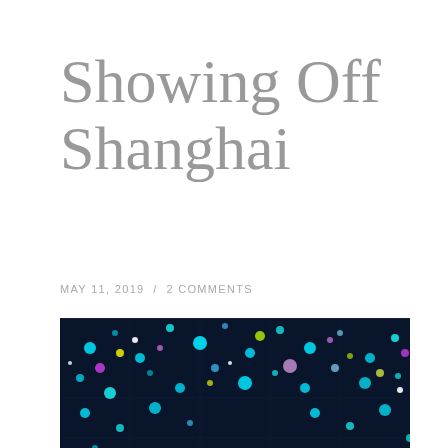Showing Off Shanghai
MAY 11, 2019  /  2 COMMENTS
[Figure (photo): Interior of a Yayoi Kusama-style infinity mirror room filled with colorful LED lights reflecting endlessly; silhouettes of visitors visible in the foreground taking photos, illuminated by blue, teal, purple, and pink dots of light.]